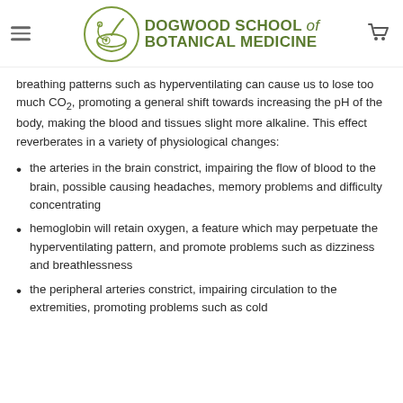Dogwood School of Botanical Medicine
breathing patterns such as hyperventilating can cause us to lose too much CO2, promoting a general shift towards increasing the pH of the body, making the blood and tissues slight more alkaline. This effect reverberates in a variety of physiological changes:
the arteries in the brain constrict, impairing the flow of blood to the brain, possible causing headaches, memory problems and difficulty concentrating
hemoglobin will retain oxygen, a feature which may perpetuate the hyperventilating pattern, and promote problems such as dizziness and breathlessness
the peripheral arteries constrict, impairing circulation to the extremities, promoting problems such as cold